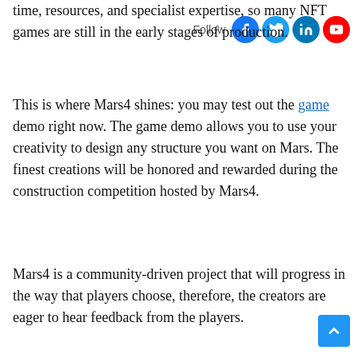time, resources, and specialist expertise, so many NFT games are still in the early stages of production.
This is where Mars4 shines: you may test out the game demo right now. The game demo allows you to use your creativity to design any structure you want on Mars. The finest creations will be honored and rewarded during the construction competition hosted by Mars4.
Mars4 is a community-driven project that will progress in the way that players choose, therefore, the creators are eager to hear feedback from the players.